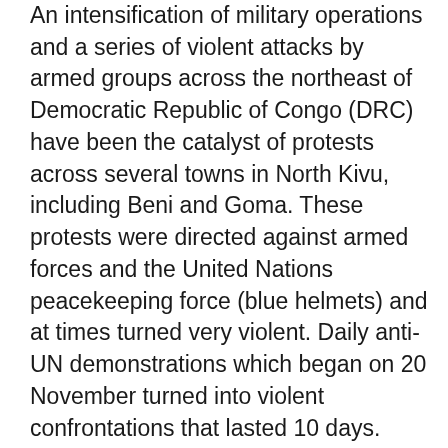An intensification of military operations and a series of violent attacks by armed groups across the northeast of Democratic Republic of Congo (DRC) have been the catalyst of protests across several towns in North Kivu, including Beni and Goma. These protests were directed against armed forces and the United Nations peacekeeping force (blue helmets) and at times turned very violent. Daily anti-UN demonstrations which began on 20 November turned into violent confrontations that lasted 10 days. Dozens of people have died during the protests and approximately 250 succumbed to violent attacks. Health workers in the Ebola response have also been targeted. Three people were killed, and several Ebola responders were injured in a separate violent attack against a Ministry of Health (MOH)/WHO base in Biakato Mine on 27 November. Simultaneously the riposte base in Mangina was also targeted. This violence directed at response workers in Biakato caused the majority of the